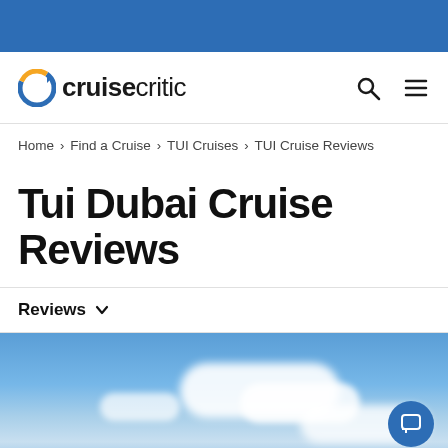[Figure (logo): Cruise Critic logo with circular arrow icon in blue and orange]
Home > Find a Cruise > TUI Cruises > TUI Cruise Reviews
Tui Dubai Cruise Reviews
Reviews ∨
[Figure (photo): Blue sky with white clouds]